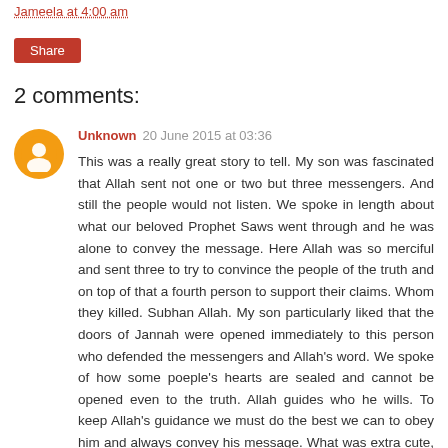Jameela at 4:00 am
Share
2 comments:
Unknown 20 June 2015 at 03:36
This was a really great story to tell. My son was fascinated that Allah sent not one or two but three messengers. And still the people would not listen. We spoke in length about what our beloved Prophet Saws went through and he was alone to convey the message. Here Allah was so merciful and sent three to try to convince the people of the truth and on top of that a fourth person to support their claims. Whom they killed. Subhan Allah. My son particularly liked that the doors of Jannah were opened immediately to this person who defended the messengers and Allah's word. We spoke of how some poeple's hearts are sealed and cannot be opened even to the truth. Allah guides who he wills. To keep Allah's guidance we must do the best we can to obey him and always convey his message. What was extra cute, was when I finished the story. My son went to his little sister